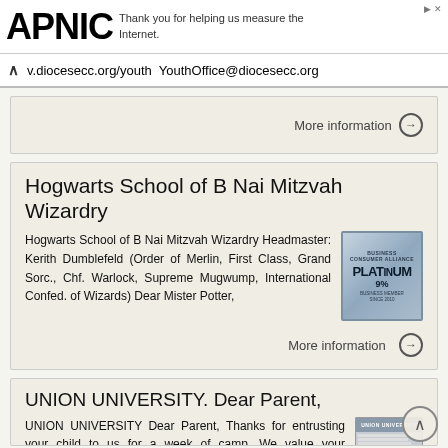APNIC — Thank you for helping us measure the Internet.
v.diocesecc.org/youth YouthOffice@diocesecc.org
More information →
Hogwarts School of B Nai Mitzvah Wizardry
Hogwarts School of B Nai Mitzvah Wizardry Headmaster: Kerith Dumblefeld (Order of Merlin, First Class, Grand Sorc., Chf. Warlock, Supreme Mugwump, International Confed. of Wizards) Dear Mister Potter,
[Figure (illustration): Platinum 9% badge/seal in blue-grey tones]
More information →
UNION UNIVERSITY. Dear Parent,
UNION UNIVERSITY Dear Parent, Thanks for entrusting your child to us for a week of camp. We value your confidence in us to